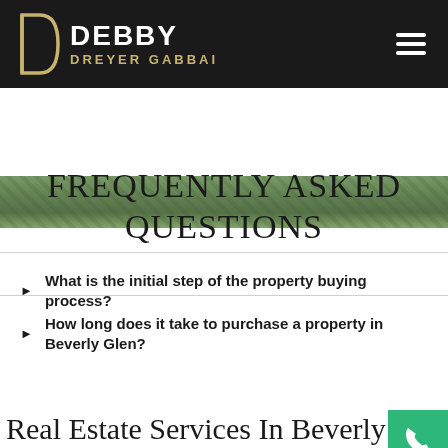DEBBY DREYER GABBAI
[Figure (photo): Aerial photograph of a neighborhood with trees and rooftops, shown as a cropped banner strip]
FREQUENTLY ASKED QUESTIONS
What is the initial step of the property buying process?
How long does it take to purchase a property in Beverly Glen?
Navigate
Real Estate Services In Beverly G